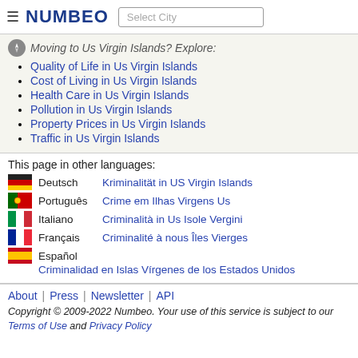NUMBEO | Select City
Moving to Us Virgin Islands? Explore:
Quality of Life in Us Virgin Islands
Cost of Living in Us Virgin Islands
Health Care in Us Virgin Islands
Pollution in Us Virgin Islands
Property Prices in Us Virgin Islands
Traffic in Us Virgin Islands
This page in other languages:
Deutsch  Kriminalität in US Virgin Islands
Português  Crime em Ilhas Virgens Us
Italiano  Criminalità in Us Isole Vergini
Français  Criminalité à nous Îles Vierges
Español  Criminalidad en Islas Vírgenes de los Estados Unidos
About | Press | Newsletter | API
Copyright © 2009-2022 Numbeo. Your use of this service is subject to our Terms of Use and Privacy Policy